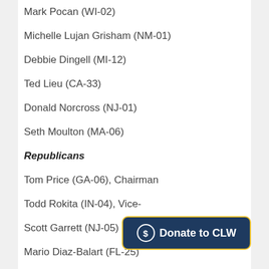Mark Pocan (WI-02)
Michelle Lujan Grisham (NM-01)
Debbie Dingell (MI-12)
Ted Lieu (CA-33)
Donald Norcross (NJ-01)
Seth Moulton (MA-06)
Republicans
Tom Price (GA-06), Chairman
Todd Rokita (IN-04), Vice-[Chairman]
Scott Garrett (NJ-05)
Mario Diaz-Balart (FL-25)